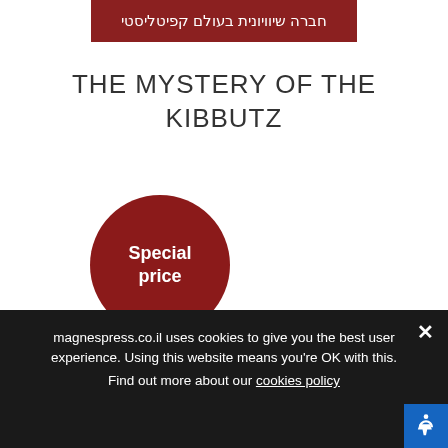[Figure (other): Dark red banner with Hebrew text: חברה שיוויונית בעולם קפיטליסטי]
THE MYSTERY OF THE KIBBUTZ
[Figure (other): Dark red circular badge with white bold text reading 'Special price']
magnespress.co.il uses cookies to give you the best user experience. Using this website means you're OK with this. Find out more about our cookies policy